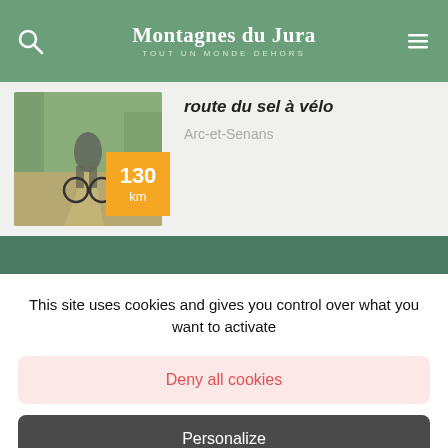Montagnes du Jura — TOUT UN MONDE DEHORS
[Figure (photo): Cyclist riding on a dirt path, with an orange badge showing 130 km]
route du sel à vélo
Arc-et-Senans
This site uses cookies and gives you control over what you want to activate
Deny all cookies
Personalize
OK, accept all